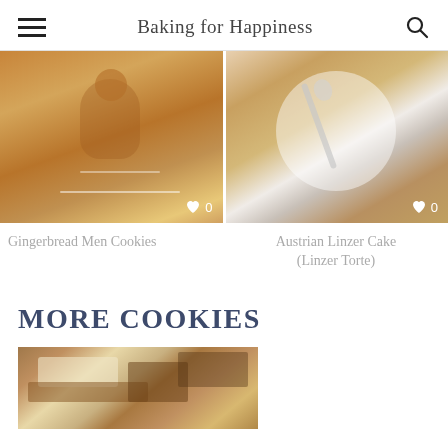Baking for Happiness
[Figure (photo): Gingerbread men cookies decorated with white icing and red/green buttons on a white background]
Gingerbread Men Cookies
[Figure (photo): Austrian Linzer Cake (Linzer Torte) slice on a white plate with a silver spoon on a wood surface]
Austrian Linzer Cake (Linzer Torte)
MORE COOKIES
[Figure (photo): Close-up of chocolate and cream cookie bars on a blue surface]